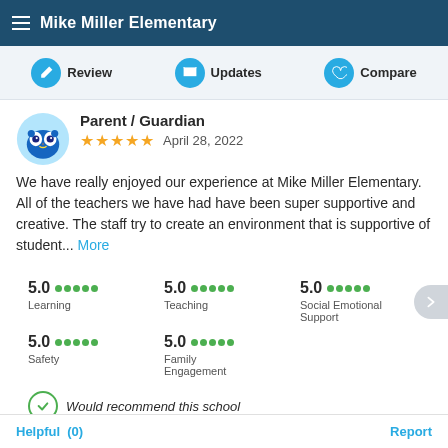Mike Miller Elementary
Review  Updates  Compare
Parent / Guardian
★★★★★  April 28, 2022
We have really enjoyed our experience at Mike Miller Elementary. All of the teachers we have had have been super supportive and creative. The staff try to create an environment that is supportive of student... More
5.0 ●●●●●  Learning
5.0 ●●●●●  Teaching
5.0 ●●●●●  Social Emotional Support
5.0 ●●●●●  Safety
5.0 ●●●●●  Family Engagement
Would recommend this school
Helpful  (0)    Report